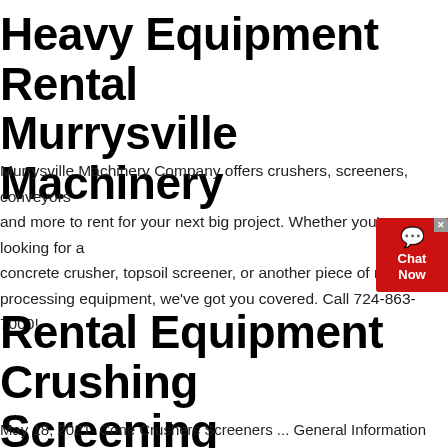Heavy Equipment Rental Murrysville Machinery
Murrysville Machinery Company offers crushers, screeners, conveyors and more to rent for your next big project. Whether you're looking for a concrete crusher, topsoil screener, or another piece of material processing equipment, we've got you covered. Call 724-863-7000!
Rental Equipment Crushing Screening
May 18, 2021  Cone Crushers Screeners ... General Information Find Used Equipment Rent Equipment Request Parts Operations PDF Manual Request Transportation Quote Request Service Contact